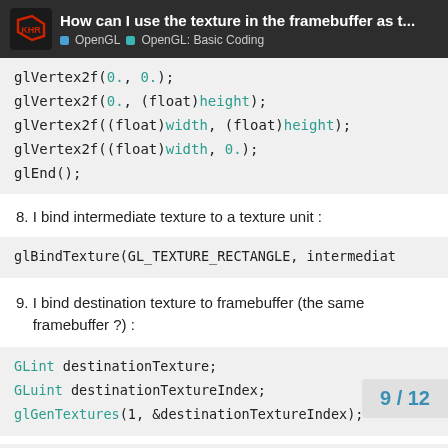How can I use the texture in the framebuffer as t... | OpenGL | OpenGL: Basic Coding
8. I bind intermediate texture to a texture unit :
9. I bind destination texture to framebuffer (the same framebuffer ?) :
9 / 12